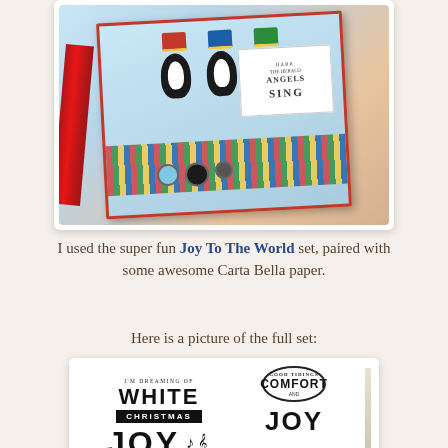[Figure (photo): Christmas card craft photo featuring three penguins wearing colorful hats, with 'Hark The Herald Angels Sing' text tag, red ribbon, buttons, and striped patterned paper]
I used the super fun Joy To The World set, paired with some awesome Carta Bella paper.
Here is a picture of the full set:
[Figure (photo): Stamp set product image showing Christmas-themed stamps with text 'I'm Dreaming of White Christmas', 'Good Tidings Comfort and Joy', and large 'JOY' stamps with musical notes, alongside a pencil]